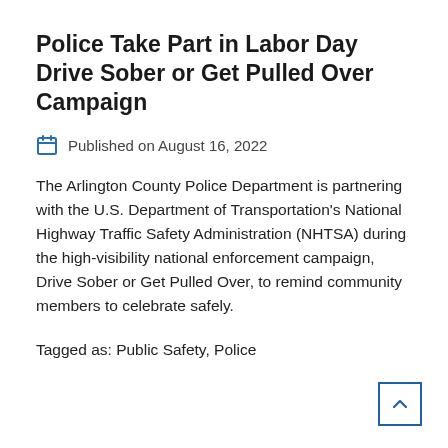Police Take Part in Labor Day Drive Sober or Get Pulled Over Campaign
Published on August 16, 2022
The Arlington County Police Department is partnering with the U.S. Department of Transportation's National Highway Traffic Safety Administration (NHTSA) during the high-visibility national enforcement campaign, Drive Sober or Get Pulled Over, to remind community members to celebrate safely.
Tagged as: Public Safety, Police